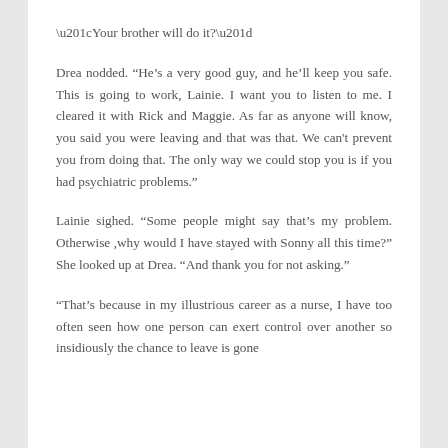“Your brother will do it?”
Drea nodded. “He’s a very good guy, and he’ll keep you safe. This is going to work, Lainie. I want you to listen to me. I cleared it with Rick and Maggie. As far as anyone will know, you said you were leaving and that was that. We can’t prevent you from doing that. The only way we could stop you is if you had psychiatric problems.”
Lainie sighed. “Some people might say that’s my problem. Otherwise ,why would I have stayed with Sonny all this time?” She looked up at Drea. “And thank you for not asking.”
“That’s because in my illustrious career as a nurse, I have too often seen how one person can exert control over another so insidiously the chance to leave is gone